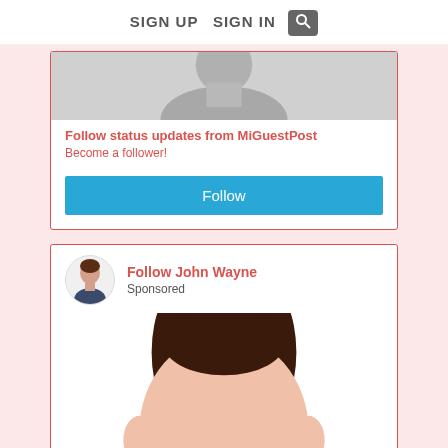SIGN UP  SIGN IN  🔍
[Figure (illustration): Cropped top portion of a generic avatar silhouette in grayscale, used as a profile/banner image]
Follow status updates from MiGuestPost
Become a follower!
Follow
[Figure (illustration): Small circular avatar icon of a male silhouette with brown hair and dark shirt]
Follow John Wayne
Sponsored
[Figure (illustration): Large flat-style illustration of a male face/head with brown hair and peach skin tone, cropped at bottom]